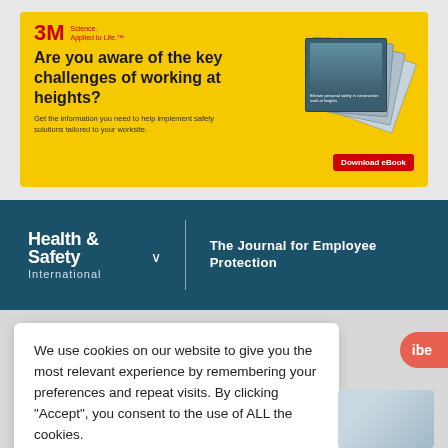[Figure (infographic): 3M advertisement banner with yellow background. Headline: 'Are you aware of the key challenges of working at heights?' Subtext about safety solutions. Download eBook button in red. Decorative stacked eBook images on right.]
Health & Safety International  The Journal for Employee Protection
We use cookies on our website to give you the most relevant experience by remembering your preferences and repeat visits. By clicking “Accept”, you consent to the use of ALL the cookies.
Cookie settings   ACCEPT